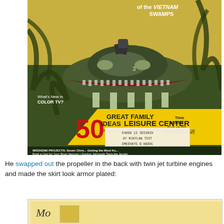[Figure (photo): Magazine cover showing a hovercraft vehicle in Vietnam swamp setting. Cover includes text: 'of the VIETNAM SWAMPS', 'What's New in COLOR TV?', '50 GREAT FAMILY IDEAS LEISURE CENTER FOR YOUR SPECIAL 24-Page Tear-Out SECTION', 'Time Bombs Full of Oil', '100 Sunken Tankers', 'WEEKEND PROJECTS: Seven Chris... Getting the Most fro... Build a Cart for Your Shop Vacuum • Gordon Johncock Tests the Javolin'. A library card or slip is overlaid on the bottom portion.]
He swapped out the propeller in the back with twin jet turbine engines and made the skirt look armor plated:
[Figure (photo): Partial view of another magazine or book cover, partially visible at bottom of page.]